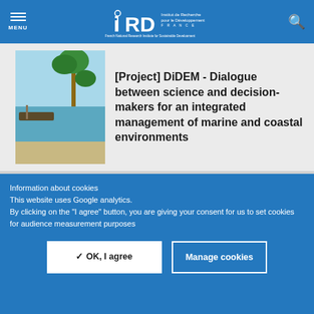MENU | IRD - Institut de Recherche pour le Développement FRANCE | French National Research Institute for Sustainable Development
[Project] DiDEM - Dialogue between science and decision-makers for an integrated management of marine and coastal environments
[Project] AfriMAQUA - Sustainable marine aquaculture in Africa
Information about cookies
This website uses Google analytics.
By clicking on the "I agree" button, you are giving your consent for us to set cookies for audience measurement purposes